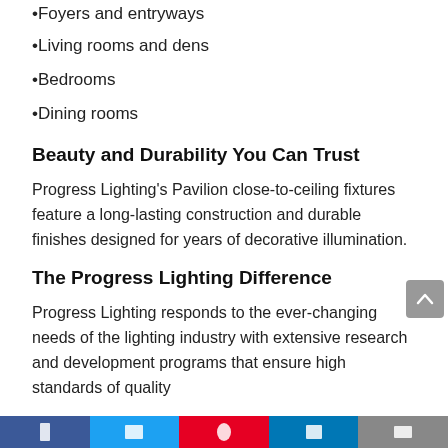Foyers and entryways
Living rooms and dens
Bedrooms
Dining rooms
Beauty and Durability You Can Trust
Progress Lighting's Pavilion close-to-ceiling fixtures feature a long-lasting construction and durable finishes designed for years of decorative illumination.
The Progress Lighting Difference
Progress Lighting responds to the ever-changing needs of the lighting industry with extensive research and development programs that ensure high standards of quality